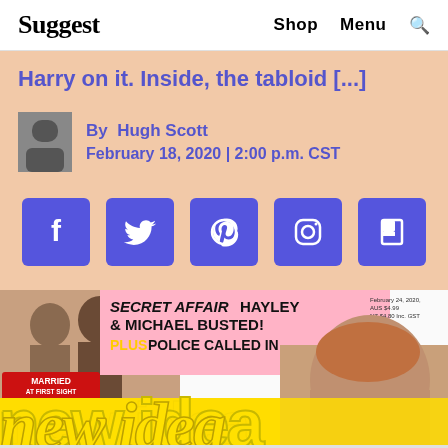Suggest    Shop    Menu    🔍
Harry on it. Inside, the tabloid [...]
By Hugh Scott
February 18, 2020 | 2:00 p.m. CST
[Figure (infographic): Social media share icons row: Facebook, Twitter, Pinterest, Instagram, Flipboard — each a blue square icon]
[Figure (photo): Magazine cover of New Idea dated February 24, 2020. Headline reads: SECRET AFFAIR HAYLEY & MICHAEL BUSTED! PLUS POLICE CALLED IN. MARRIED AT FIRST SIGHT tag. New Idea logo in large yellow letters. Prince Harry visible on right side. Text at bottom: EXCLUSIVE INTERVIEW]